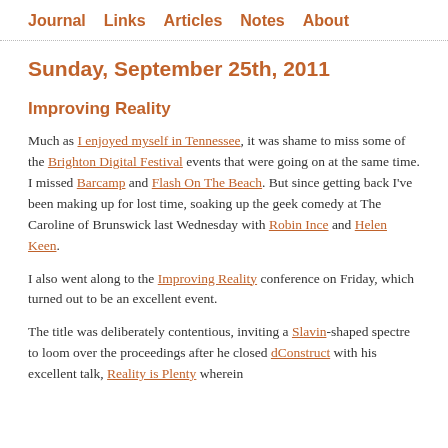Journal   Links   Articles   Notes   About
Sunday, September 25th, 2011
Improving Reality
Much as I enjoyed myself in Tennessee, it was shame to miss some of the Brighton Digital Festival events that were going on at the same time. I missed Barcamp and Flash On The Beach. But since getting back I've been making up for lost time, soaking up the geek comedy at The Caroline of Brunswick last Wednesday with Robin Ince and Helen Keen.
I also went along to the Improving Reality conference on Friday, which turned out to be an excellent event.
The title was deliberately contentious, inviting a Slavin-shaped spectre to loom over the proceedings after he closed dConstruct with his excellent talk, Reality is Plenty wherein